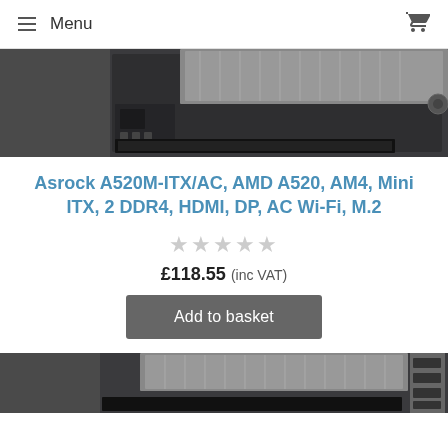Menu
[Figure (photo): Motherboard PCB product photo, top portion, dark background with circuit components visible]
Asrock A520M-ITX/AC, AMD A520, AM4, Mini ITX, 2 DDR4, HDMI, DP, AC Wi-Fi, M.2
★★★★★ (no rating, empty stars)
£118.55 (inc VAT)
Add to basket
[Figure (photo): Motherboard PCB product photo, bottom portion cropped, partial view]